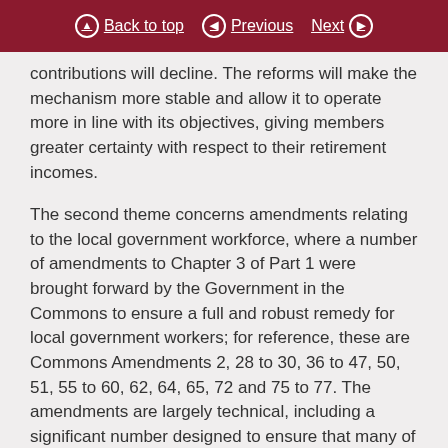Back to top | Previous | Next
contributions will decline. The reforms will make the mechanism more stable and allow it to operate more in line with its objectives, giving members greater certainty with respect to their retirement incomes.
The second theme concerns amendments relating to the local government workforce, where a number of amendments to Chapter 3 of Part 1 were brought forward by the Government in the Commons to ensure a full and robust remedy for local government workers; for reference, these are Commons Amendments 2, 28 to 30, 36 to 47, 50, 51, 55 to 60, 62, 64, 65, 72 and 75 to 77. The amendments are largely technical, including a significant number designed to ensure that many of